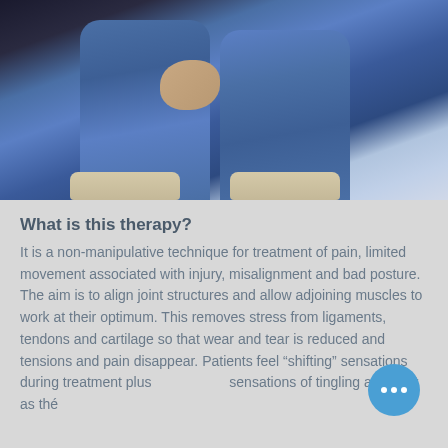[Figure (photo): Photo of a person sitting/lying down wearing blue jeans and light-colored shoes, with hands resting on lap, on a therapy/massage table.]
What is this therapy?
It is a non-manipulative technique for treatment of pain, limited movement associated with injury, misalignment and bad posture. The aim is to align joint structures and allow adjoining muscles to work at their optimum. This removes stress from ligaments, tendons and cartilage so that wear and tear is reduced and tensions and pain disappear. Patients feel “shifting” sensations during treatment plus sensations of tingling and heat as the